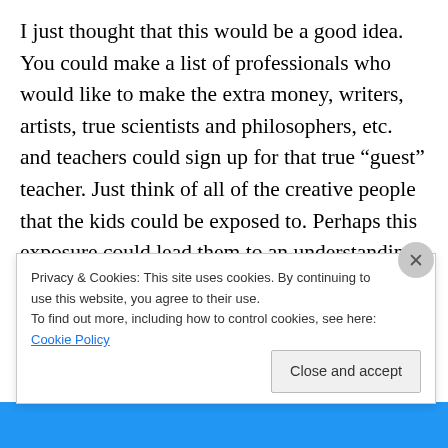I just thought that this would be a good idea. You could make a list of professionals who would like to make the extra money, writers, artists, true scientists and philosophers, etc. and teachers could sign up for that true “guest” teacher. Just think of all of the creative people that the kids could be exposed to. Perhaps this exposure could lead them to an understanding of what the subject is about and why it matters at all. I strongly feel that this knowledge is lacking today in our public school system since teachers are so overtaxed and underpaid that they can barely feel the pleasure in their subject matters much at all anymore.
Privacy & Cookies: This site uses cookies. By continuing to use this website, you agree to their use.
To find out more, including how to control cookies, see here: Cookie Policy
Close and accept